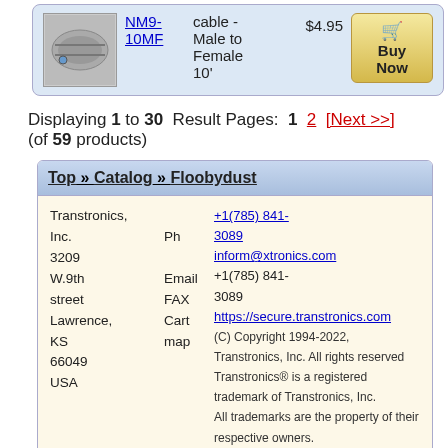| Image | Code | Description | Price | Action |
| --- | --- | --- | --- | --- |
| [cable image] | NM9-10MF | cable - Male to Female 10' | $4.95 | Buy Now |
Displaying 1 to 30  Result Pages:  1  2  [Next >>] (of 59 products)
Top » Catalog » Floobydust
Transtronics, Inc.
3209
W.9th
street
Lawrence,
KS
66049
USA

Ph
Email
FAX
Cart
map

+1(785) 841-3089
inform@xtronics.com
+1(785) 841-3089
https://secure.transtronics.com

(C) Copyright 1994-2022, Transtronics, Inc. All rights reserved
Transtronics® is a registered trademark of Transtronics, Inc.
All trademarks are the property of their respective owners.
In business since 1979;
We've been 'on-the-web' since 1994;
where were you?